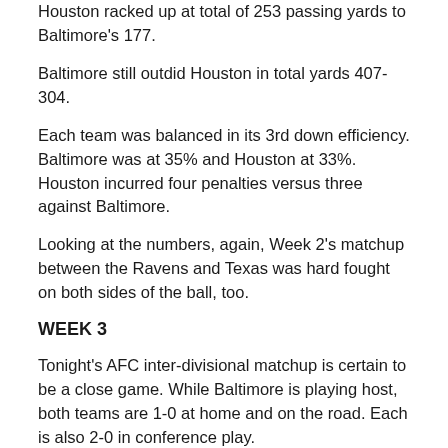Houston racked up at total of 253 passing yards to Baltimore's 177.
Baltimore still outdid Houston in total yards 407-304.
Each team was balanced in its 3rd down efficiency. Baltimore was at 35% and Houston at 33%.  Houston incurred four penalties versus three against Baltimore.
Looking at the numbers, again, Week 2's matchup between the Ravens and Texas was hard fought on both sides of the ball, too.
WEEK 3
Tonight's AFC inter-divisional matchup is certain to be a close game.  While Baltimore is playing host, both teams are 1-0 at home and on the road.  Each is also 2-0 in conference play.